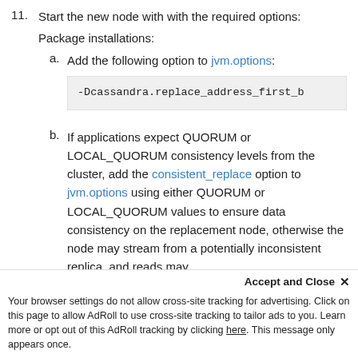11. Start the new node with with the required options:
Package installations:
a. Add the following option to jvm.options:
-Dcassandra.replace_address_first_b
b. If applications expect QUORUM or LOCAL_QUORUM consistency levels from the cluster, add the consistent_replace option to jvm.options using either QUORUM or LOCAL_QUORUM values to ensure data consistency on the replacement node, otherwise the node may stream from a potentially inconsistent replica, and reads may
return stale data.
Accept and Close ×
Your browser settings do not allow cross-site tracking for advertising. Click on this page to allow AdRoll to use cross-site tracking to tailor ads to you. Learn more or opt out of this AdRoll tracking by clicking here. This message only appears once.